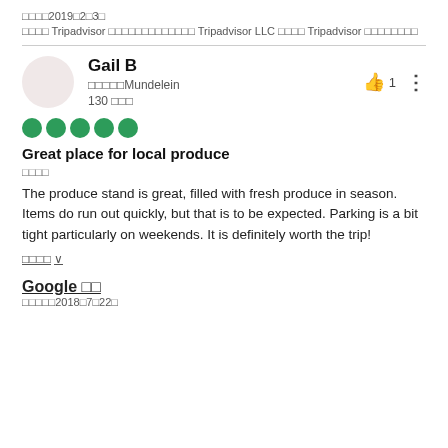□□□□2019□2□3□
□□□□ Tripadvisor □□□□□□□□□□□□□ Tripadvisor LLC □□□□ Tripadvisor □□□□□□□□
Gail B
□□□□□Mundelein
130 □□□
[Figure (other): Five green filled circle rating dots indicating 5-star review]
Great place for local produce
□□□□
The produce stand is great, filled with fresh produce in season. Items do run out quickly, but that is to be expected. Parking is a bit tight particularly on weekends. It is definitely worth the trip!
□□□□ ∨
Google □□
□□□□□2018□7□22□